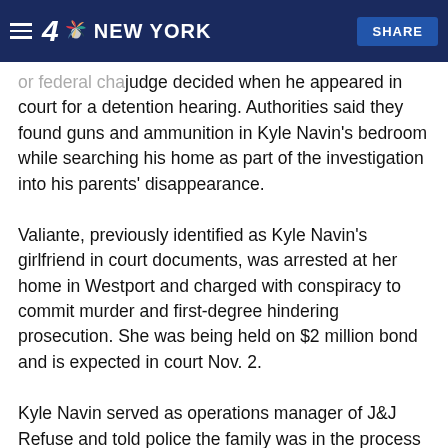4 NBC NEW YORK | SHARE
judge decided when he appeared in court for a detention hearing. Authorities said they found guns and ammunition in Kyle Navin's bedroom while searching his home as part of the investigation into his parents' disappearance.
Valiante, previously identified as Kyle Navin's girlfriend in court documents, was arrested at her home in Westport and charged with conspiracy to commit murder and first-degree hindering prosecution. She was being held on $2 million bond and is expected in court Nov. 2.
Kyle Navin served as operations manager of J&J Refuse and told police the family was in the process of selling the company, according to search warrants obtained by NBC Connecticut.